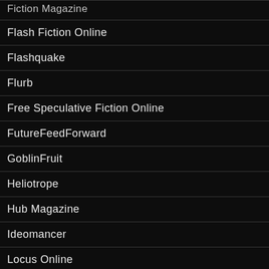Fiction Magazine
Flash Fiction Online
Flashquake
Flurb
Free Speculative Fiction Online
FutureFeedForward
GoblinFruit
Heliotrope
Hub Magazine
Ideomancer
Locus Online
Lone Star Stories
MindFlights